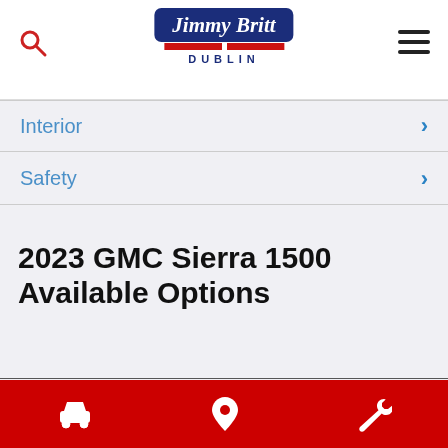Jimmy Britt Dublin
Interior
Safety
2023 GMC Sierra 1500 Available Options
Car icon | Location icon | Wrench icon